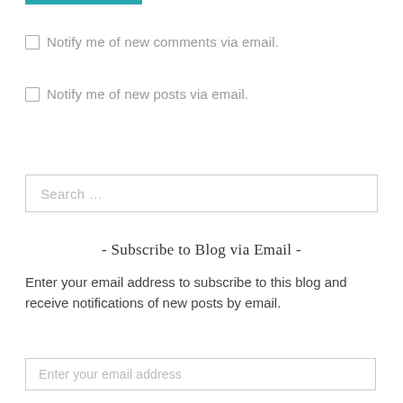Notify me of new comments via email.
Notify me of new posts via email.
Search …
- Subscribe to Blog via Email -
Enter your email address to subscribe to this blog and receive notifications of new posts by email.
Enter your email address